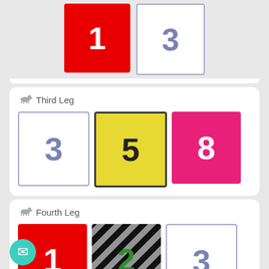[Figure (infographic): Top partial section showing two racing position boxes: red box with '1' and white/blue-outlined box with '3']
Third Leg
[Figure (infographic): Third Leg racing selections: white box '3', yellow box '5', pink box '8']
Fourth Leg
[Figure (infographic): Fourth Leg racing selections: red box '1', black striped box '2' (green number), white box '3']
Investment: $72 for 100%
MORE GREYHOUND TIPS